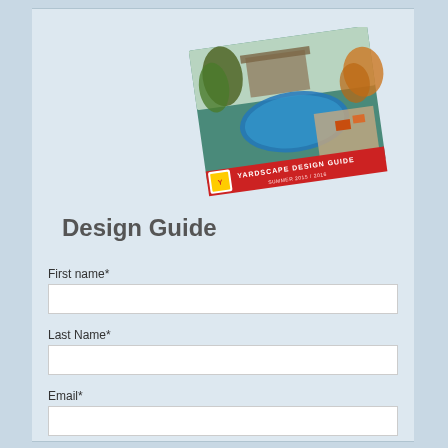[Figure (illustration): A tilted booklet cover showing a landscaped backyard with a swimming pool, pergola, patio area, and lush vegetation. The cover has a red banner at the bottom reading 'YARDSCAPE DESIGN GUIDE' with a logo.]
Design Guide
First name*
Last Name*
Email*
Phone Number*
Zip code